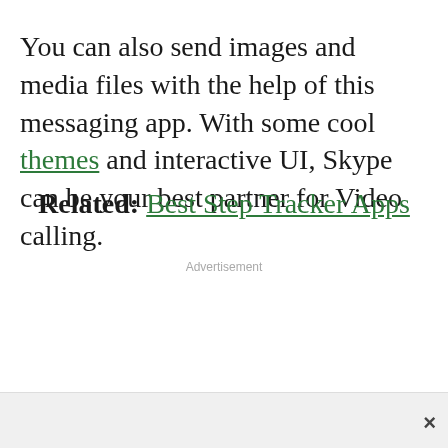You can also send images and media files with the help of this messaging app. With some cool themes and interactive UI, Skype can be your best partner for Video calling.
Related: Best Step Tracker Apps
Advertisement